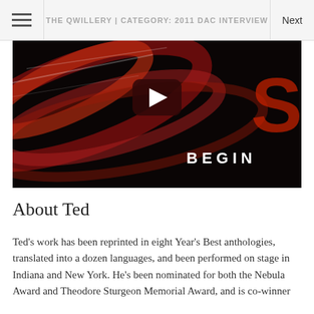THE QWILLERY | CATEGORY: 2011 DAC INTERVIEW
[Figure (screenshot): Video thumbnail with dark background featuring red/orange swirling abstract imagery, a YouTube-style play button in the center, and the word BEGIN in white letters at the bottom right]
About Ted
Ted's work has been reprinted in eight Year's Best anthologies, translated into a dozen languages, and been performed on stage in Indiana and New York. He's been nominated for both the Nebula Award and Theodore Sturgeon Memorial Award, and is co-winner